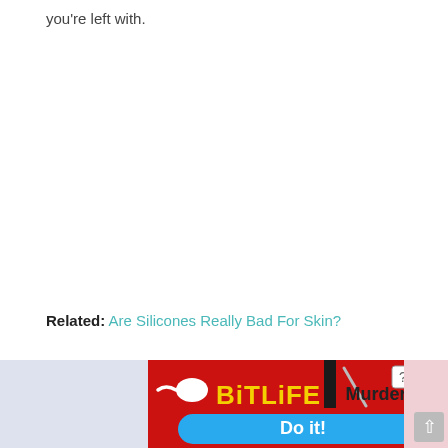you're left with.
Related: Are Silicones Really Bad For Skin?
[Figure (other): BitLife mobile game advertisement banner with red background showing BitLife logo and 'Murder Do it!' call to action button]